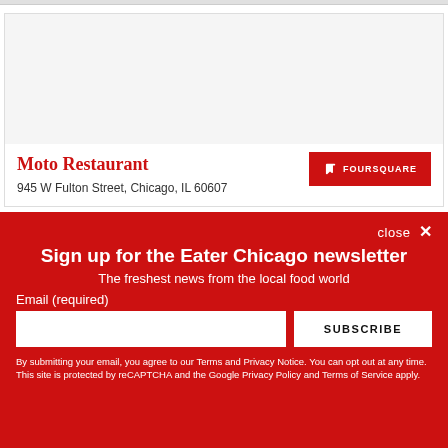Moto Restaurant
945 W Fulton Street, Chicago, IL 60607
close ×
Sign up for the Eater Chicago newsletter
The freshest news from the local food world
Email (required)
SUBSCRIBE
By submitting your email, you agree to our Terms and Privacy Notice. You can opt out at any time. This site is protected by reCAPTCHA and the Google Privacy Policy and Terms of Service apply.